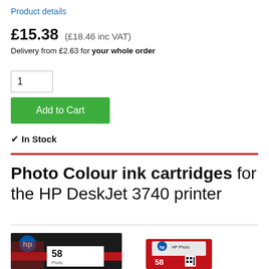Product details
£15.38 (£18.46 inc VAT)
Delivery from £2.63 for your whole order
1
Add to Cart
✔ In Stock
Photo Colour ink cartridges for the HP DeskJet 3740 printer
[Figure (photo): Two HP 58 Photo Colour ink cartridges, one in black retail packaging showing the HP logo and cartridge number 58, and one showing the cartridge itself with HP branding and the number 58 with a QR code.]